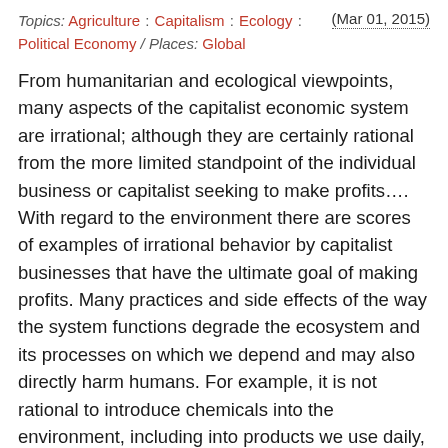Topics: Agriculture : Capitalism : Ecology : Political Economy / Places: Global  (Mar 01, 2015)
From humanitarian and ecological viewpoints, many aspects of the capitalist economic system are irrational; although they are certainly rational from the more limited standpoint of the individual business or capitalist seeking to make profits.... With regard to the environment there are scores of examples of irrational behavior by capitalist businesses that have the ultimate goal of making profits. Many practices and side effects of the way the system functions degrade the ecosystem and its processes on which we depend and may also directly harm humans. For example, it is not rational to introduce chemicals into the environment, including into products we use daily, that are either toxic or cause illnesses of various types. Yet there are over 80,000 chemicals used in the United States; few of them are tested for their effects on